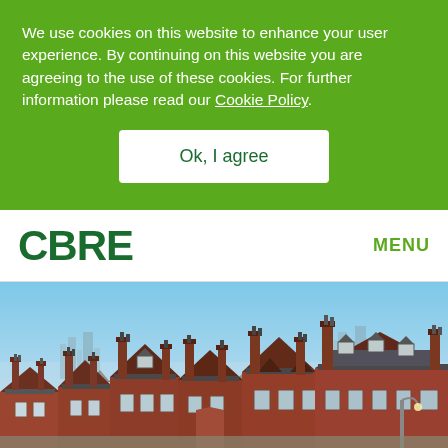We use cookies on this website to enhance your user experience. By continuing on this website you are agreeing to the use of these cookies. For further information please read our Cookie Policy.
Ok, I agree
CBRE
MENU
[Figure (photo): Aerial view of London residential rooftops (Victorian terraced houses with chimneys) with city skyline in the background under a blue sky.]